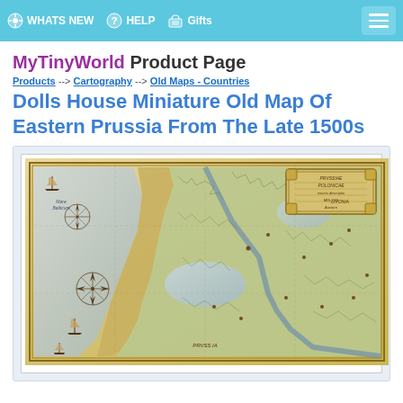WHATS NEW  HELP  Gifts
MyTinyWorld Product Page
Products --> Cartography --> Old Maps - Countries
Dolls House Miniature Old Map Of Eastern Prussia From The Late 1500s
[Figure (map): Antique map of Eastern Prussia from the late 1500s, showing coastal regions, waterways, sea vessels, compass rose, and decorative cartouche. The map has a yellowed aged parchment appearance with green-tinted land regions and blue water areas.]